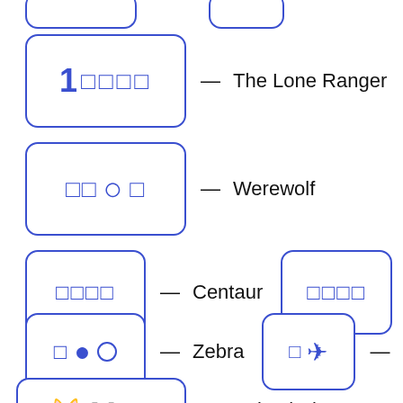[Figure (illustration): Row of icon boxes with labels: partial boxes at top, then '1□□□□ — The Lone Ranger', '□□○□ — Werewolf', '□□□□ — Centaur', '□□□□ — Mahan', '□●○ — Zebra', '□➜ — Pegasus', '🐱🐭□□ — Animal Planet']